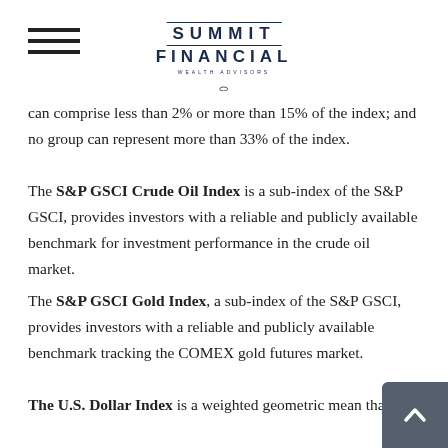Summit Financial Wealth Advisors
can comprise less than 2% or more than 15% of the index; and no group can represent more than 33% of the index.
The S&P GSCI Crude Oil Index is a sub-index of the S&P GSCI, provides investors with a reliable and publicly available benchmark for investment performance in the crude oil market.
The S&P GSCI Gold Index, a sub-index of the S&P GSCI, provides investors with a reliable and publicly available benchmark tracking the COMEX gold futures market.
The U.S. Dollar Index is a weighted geometric mean that provides a value measure of the United States dollar relative to a basket of major foreign currencies. The index, often carrying a USDX or DXY moniker, started in March 1973, beginning with a